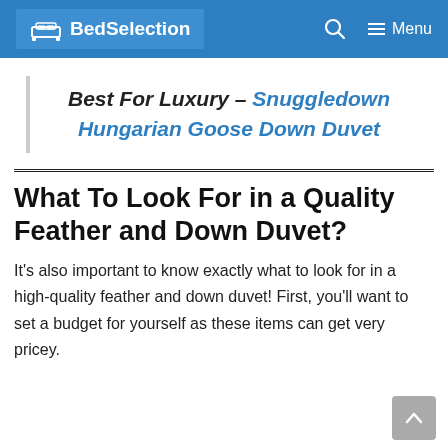BedSelection | Menu
Best For Luxury – Snuggledown Hungarian Goose Down Duvet
What To Look For in a Quality Feather and Down Duvet?
It's also important to know exactly what to look for in a high-quality feather and down duvet! First, you'll want to set a budget for yourself as these items can get very pricey.